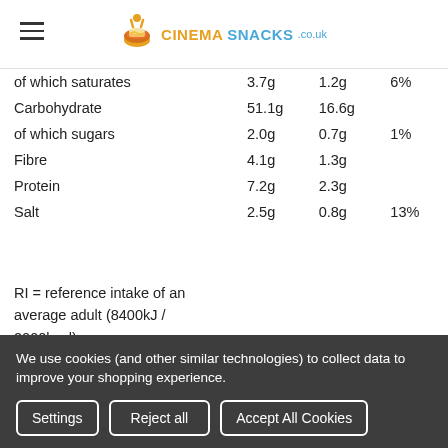CINEMASNACKS.co.uk
|  | Per 100g | Per serving | %RI |
| --- | --- | --- | --- |
| of which saturates | 3.7g | 1.2g | 6% |
| Carbohydrate | 51.1g | 16.6g |  |
| of which sugars | 2.0g | 0.7g | 1% |
| Fibre | 4.1g | 1.3g |  |
| Protein | 7.2g | 2.3g |  |
| Salt | 2.5g | 0.8g | 13% |
RI = reference intake of an average adult (8400kJ / 2000kcal)
Pack contains 1 serving
Storage
Store in a cool, dry place. Once opened, consume immediately.
We use cookies (and other similar technologies) to collect data to improve your shopping experience.
Settings | Reject all | Accept All Cookies